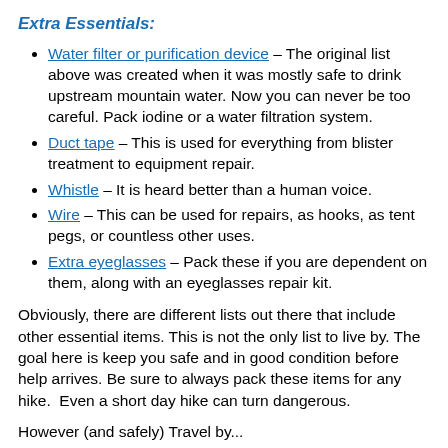Extra Essentials:
Water filter or purification device – The original list above was created when it was mostly safe to drink upstream mountain water. Now you can never be too careful. Pack iodine or a water filtration system.
Duct tape – This is used for everything from blister treatment to equipment repair.
Whistle – It is heard better than a human voice.
Wire – This can be used for repairs, as hooks, as tent pegs, or countless other uses.
Extra eyeglasses – Pack these if you are dependent on them, along with an eyeglasses repair kit.
Obviously, there are different lists out there that include other essential items. This is not the only list to live by. The goal here is keep you safe and in good condition before help arrives. Be sure to always pack these items for any hike. Even a short day hike can turn dangerous.
However (and safely) Travel by...